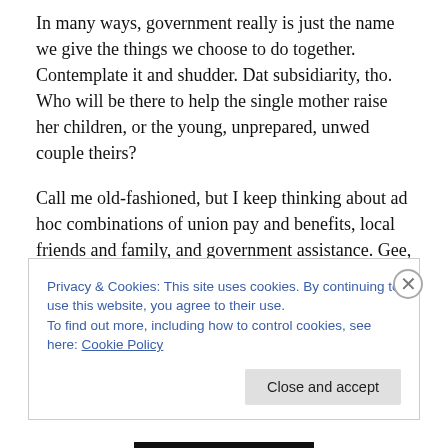In many ways, government really is just the name we give the things we choose to do together. Contemplate it and shudder. Dat subsidiarity, tho. Who will be there to help the single mother raise her children, or the young, unprepared, unwed couple theirs?
Call me old-fashioned, but I keep thinking about ad hoc combinations of union pay and benefits, local friends and family, and government assistance. Gee, these are exactly the things our shitbag centrist rulers keep denying us! It's impractical to expect these things of society and
Privacy & Cookies: This site uses cookies. By continuing to use this website, you agree to their use.
To find out more, including how to control cookies, see here: Cookie Policy